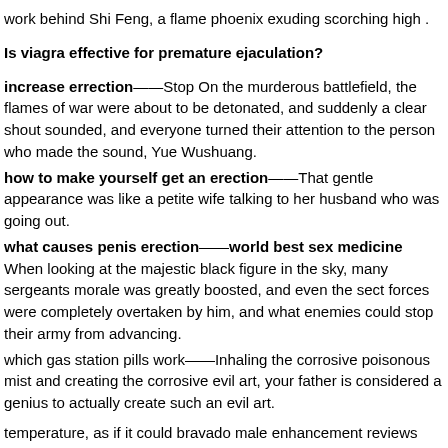work behind Shi Feng, a flame phoenix exuding scorching high .
Is viagra effective for premature ejaculation?
increase errection——Stop On the murderous battlefield, the flames of war were about to be detonated, and suddenly a clear shout sounded, and everyone turned their attention to the person who made the sound, Yue Wushuang.
how to make yourself get an erection——That gentle appearance was like a petite wife talking to her husband who was going out.
what causes penis erection——world best sex medicine When looking at the majestic black figure in the sky, many sergeants morale was greatly boosted, and even the sect forces were completely overtaken by him, and what enemies could stop their army from advancing.
which gas station pills work——Inhaling the corrosive poisonous mist and creating the corrosive evil art, your father is considered a genius to actually create such an evil art.
temperature, as if it could bravado male enhancement reviews burn